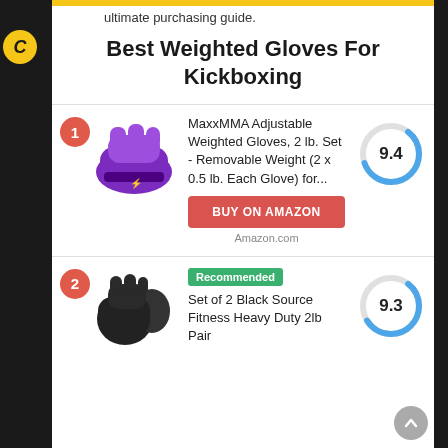ultimate purchasing guide.
Best Weighted Gloves For Kickboxing
MaxxMMA Adjustable Weighted Gloves, 2 lb. Set - Removable Weight (2 x 0.5 lb. Each Glove) for...
BUY ON AMAZON
Amazon.com
[Figure (infographic): Score ring showing 9.4 rating in blue and gray]
Recommended
Set of 2 Black Source Fitness Heavy Duty 2lb Pair
[Figure (infographic): Score ring showing 9.3 rating in blue and gray]